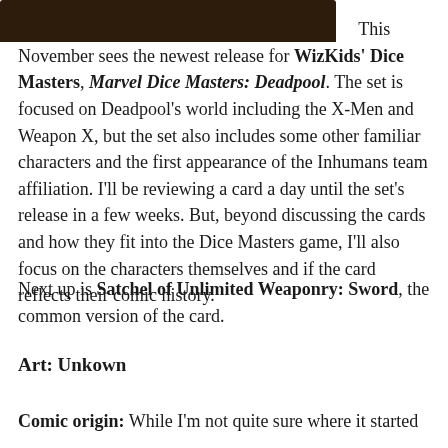[Figure (other): Dark brown/black banner strip at the top of the page, partial image of a game card or product.]
This November sees the newest release for WizKids' Dice Masters, Marvel Dice Masters: Deadpool. The set is focused on Deadpool's world including the X-Men and Weapon X, but the set also includes some other familiar characters and the first appearance of the Inhumans team affiliation. I'll be reviewing a card a day until the set's release in a few weeks. But, beyond discussing the cards and how they fit into the Dice Masters game, I'll also focus on the characters themselves and if the card reflects their comic history.
Next up is Satchel of Unlimited Weaponry: Sword, the common version of the card.
Art: Unkown
Comic origin: While I'm not quite sure where it started